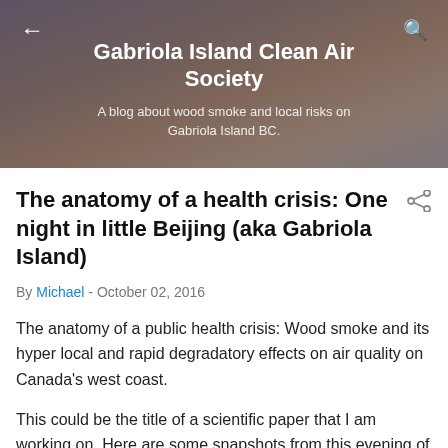Gabriola Island Clean Air Society
A blog about wood smoke and local risks on Gabriola Island BC.
The anatomy of a health crisis: One night in little Beijing (aka Gabriola Island)
By Michael - October 02, 2016
The anatomy of a public health crisis: Wood smoke and its hyper local and rapid degradatory effects on air quality on Canada's west coast.
This could be the title of a scientific paper that I am working on. Here are some snapshots from this evening of how one wood stove in a neighbourhood can harm health. It is a graphic example of how localized the effects are and why more distributed monitoring is needed. Of course, it's useless to monitor unless their